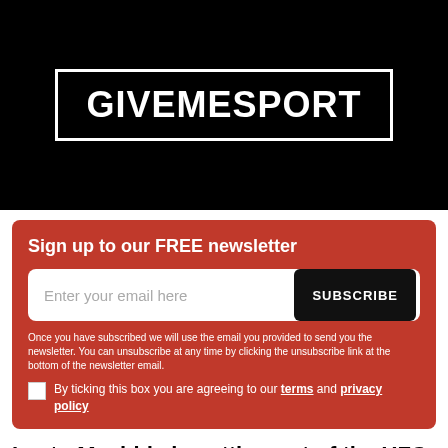[Figure (logo): GiveMeSport logo — white bold text 'GIVEMESPORT' inside a white rectangle border on a black background]
Sign up to our FREE newsletter
Enter your email here  SUBSCRIBE
Once you have subscribed we will use the email you provided to send you the newsletter. You can unsubscribe at any time by clicking the unsubscribe link at the bottom of the newsletter email.
By ticking this box you are agreeing to our terms and privacy policy
Lyoto Machida is getting out of the UFC and headed to another promotion.